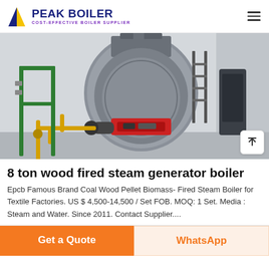PEAK BOILER - COST-EFFECTIVE BOILER SUPPLIER
[Figure (photo): Industrial gas-fired steam boiler in a factory room, showing large cylindrical vessel with front burner assembly, red burner head, yellow gas piping, and green structural supports.]
8 ton wood fired steam generator boiler
Epcb Famous Brand Coal Wood Pellet Biomass- Fired Steam Boiler for Textile Factories. US $ 4,500-14,500 / Set FOB. MOQ: 1 Set. Media : Steam and Water. Since 2011. Contact Supplier....
Get a Quote
WhatsApp